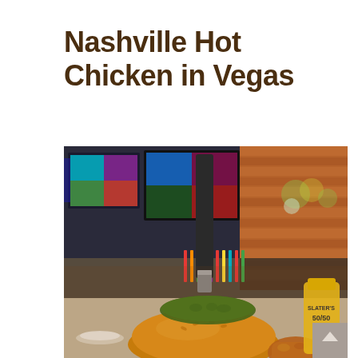Nashville Hot Chicken in Vegas
[Figure (photo): Close-up photo of a Nashville hot chicken burger/sandwich with a large dill pickle on top, a knife stuck through it, on a golden brioche bun. Background shows a bar setting with multiple TV screens, a row of beer taps, a brick wall, and a yellow Slater's 50/50 branded bottle on the right side.]